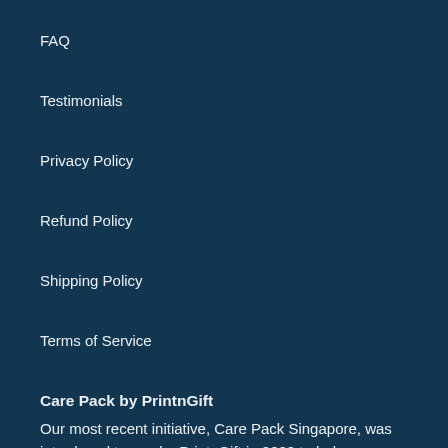FAQ
Testimonials
Privacy Policy
Refund Policy
Shipping Policy
Terms of Service
Care Pack by PrintnGift
Our most recent initiative, Care Pack Singapore, was introduced to you by PrintnGift in 2020 to help